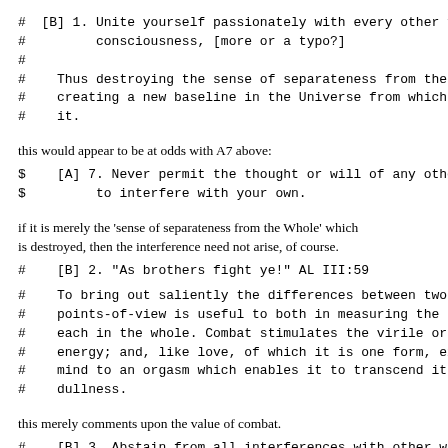#  [B] 1. Unite yourself passionately with every other form of
#         consciousness, [more or a typo?]
#
#    Thus destroying the sense of separateness from the Whole, and
#    creating a new baseline in the Universe from which to measure
#    it.
this would appear to be at odds with A7 above:
$    [A] 7. Never permit the thought or will of any other Being
$         to interfere with your own.
if it is merely the 'sense of separateness from the Whole' which is destroyed, then the interference need not arise, of course.
#    [B] 2. "As brothers fight ye!" AL III:59
#    To bring out saliently the differences between two
#    points-of-view is useful to both in measuring the position of
#    each in the whole. Combat stimulates the virile or creative
#    energy; and, like love, of which it is one form, excites the
#    mind to an orgasm which enables it to transcend its rational
#    dullness.
this merely comments upon the value of combat.
#    [B] 3. Abstain from all interferences with other wills.